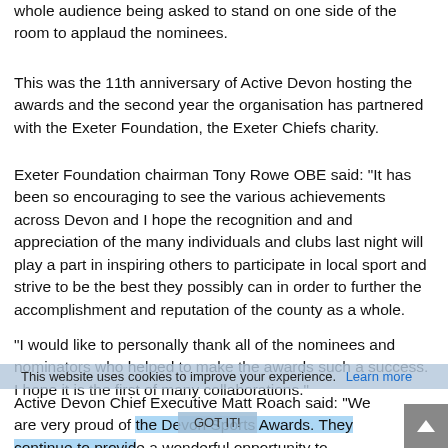whole audience being asked to stand on one side of the room to applaud the nominees.
This was the 11th anniversary of Active Devon hosting the awards and the second year the organisation has partnered with the Exeter Foundation, the Exeter Chiefs charity.
Exeter Foundation chairman Tony Rowe OBE said: "It has been so encouraging to see the various achievements across Devon and I hope the recognition and and appreciation of the many individuals and clubs last night will play a part in inspiring others to participate in local sport and strive to be the best they possibly can in order to further the accomplishment and reputation of the county as a whole.
"I would like to personally thank all of the nominees and nominators who helped to make the awards such a success. I hope it is the first of many collaborations."
This website uses cookies to improve your experience. Learn more
Active Devon Chief Executive Matt Roach said: “We are very proud of the Devon Sports Awards. They continue to provide a wonderful opportunity to celebrate the tireless hard work a…